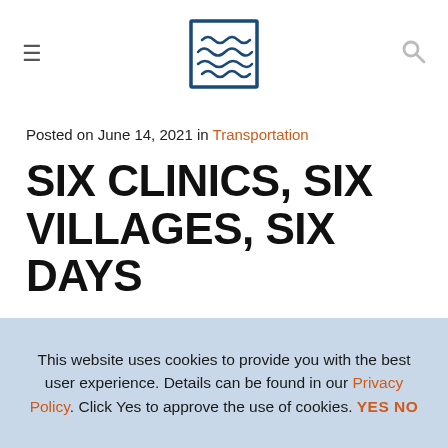Navigation header with logo, hamburger menu, and search icon
Posted on June 14, 2021 in Transportation
SIX CLINICS, SIX VILLAGES, SIX DAYS
BY RACHEL GRECO   SHARE [social icons: Facebook, Twitter, LinkedIn, Reddit]
This website uses cookies to provide you with the best user experience. Details can be found in our Privacy Policy. Click Yes to approve the use of cookies. YES NO